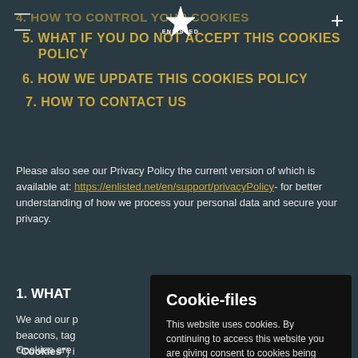ENLISTED (logo with navigation)
4. HOW TO CONTROL YOUR COOKIES
5. WHAT IF YOU DO NOT ACCEPT THIS COOKIES POLICY
6. HOW WE UPDATE THIS COOKIES POLICY
7. HOW TO CONTACT US
Please also see our Privacy Policy the current version of which is available at: https://enlisted.net/en/support/privacyPolicy- for better understanding of how we process your personal data and secure your privacy.
1. WHAT...
We and our p... beacons, tag... "Cookies") i... services ope... suitable for ...
Cookies are ... computer or mobile device (usually in browser directory) that we can,
[Figure (screenshot): Cookie consent modal dialog with title 'Cookie-files', text 'This website uses cookies. By continuing to access this website you are giving consent to cookies being used.', with OK and CUSTOMIZE buttons in orange.]